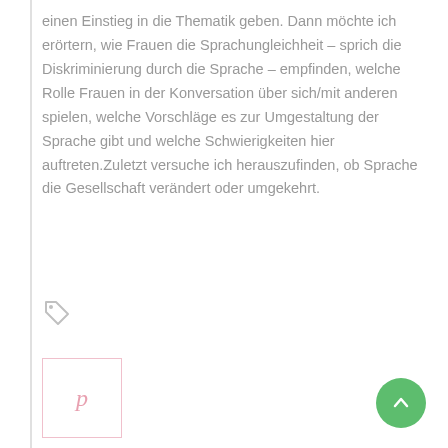einen Einstieg in die Thematik geben. Dann möchte ich erörtern, wie Frauen die Sprachungleichheit – sprich die Diskriminierung durch die Sprache – empfinden, welche Rolle Frauen in der Konversation über sich/mit anderen spielen, welche Vorschläge es zur Umgestaltung der Sprache gibt und welche Schwierigkeiten hier auftreten.Zuletzt versuche ich herauszufinden, ob Sprache die Gesellschaft verändert oder umgekehrt.
[Figure (other): Tag/label icon in pink-gray color]
[Figure (logo): Pinterest share button — square box with pink border containing a stylized 'p' letter in pink]
[Figure (other): Green circular scroll-to-top button with white upward arrow]